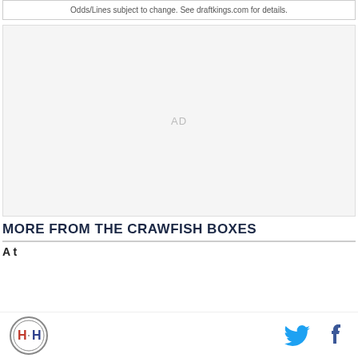Odds/Lines subject to change. See draftkings.com for details.
[Figure (other): Advertisement placeholder box with 'AD' label in center]
MORE FROM THE CRAWFISH BOXES
A t...
Logo and social media icons (Twitter, Facebook)